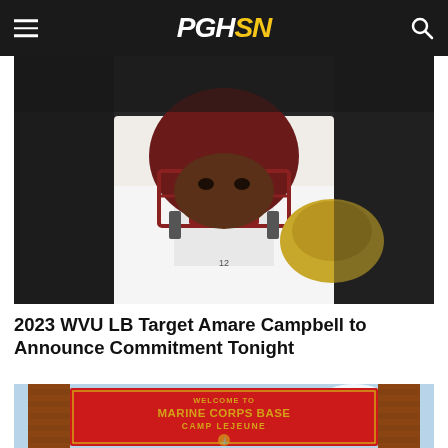PGHSN
[Figure (photo): Football player wearing maroon helmet and white jersey, facing camera, holding a gold helmet under right arm]
2023 WVU LB Target Amare Campbell to Announce Commitment Tonight
[Figure (photo): Welcome to Marine Corps Base Camp Lejeune red entrance sign with gold lettering and Marine Corps emblem, flanked by brick pillars]